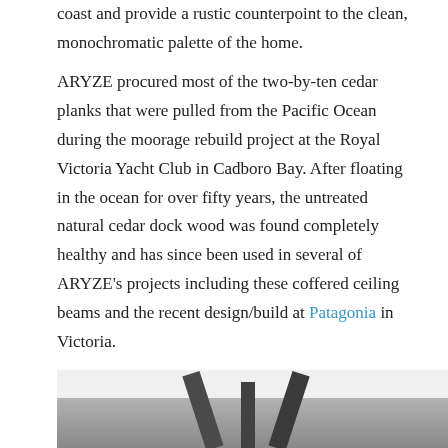coast and provide a rustic counterpoint to the clean, monochromatic palette of the home.
ARYZE procured most of the two-by-ten cedar planks that were pulled from the Pacific Ocean during the moorage rebuild project at the Royal Victoria Yacht Club in Cadboro Bay. After floating in the ocean for over fifty years, the untreated natural cedar dock wood was found completely healthy and has since been used in several of ARYZE's projects including these coffered ceiling beams and the recent design/build at Patagonia in Victoria.
[Figure (photo): Interior photo showing coffered ceiling beams, partially visible, with a light-colored ceiling and dark wooden beams arranged in a V or angular pattern.]